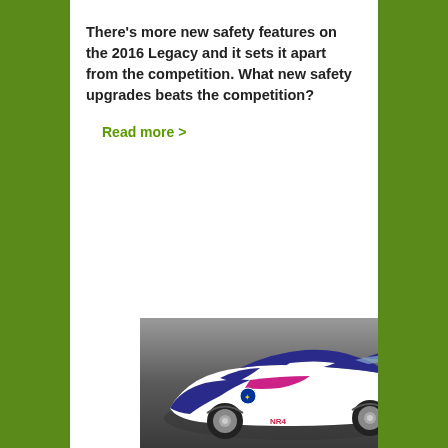There's more new safety features on the 2016 Legacy and it sets it apart from the competition. What new safety upgrades beats the competition?
Read more >
[Figure (photo): A Subaru rally/race car in blue and white livery with 'SUBARU' and 'NR4' branding, photographed from the rear three-quarter angle on a grey gradient background.]